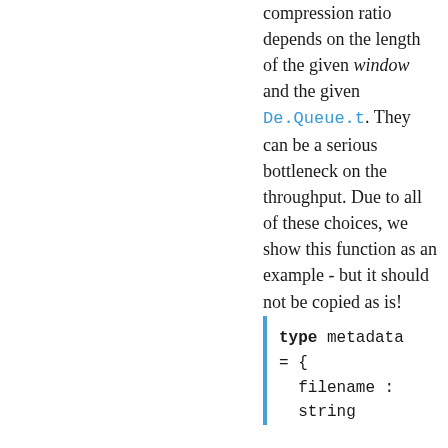compression ratio depends on the length of the given window and the given De.Queue.t. They can be a serious bottleneck on the throughput. Due to all of these choices, we show this function as an example - but it should not be copied as is!
type metadata = { filename : string